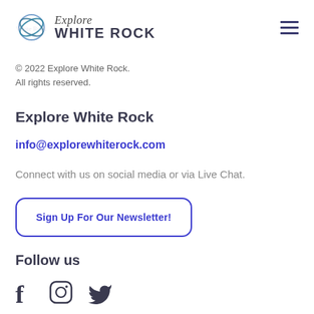[Figure (logo): Explore White Rock logo with circular abstract globe icon and text 'Explore WHITE ROCK']
© 2022 Explore White Rock.
All rights reserved.
Explore White Rock
info@explorewhiterock.com
Connect with us on social media or via Live Chat.
Sign Up For Our Newsletter!
Follow us
[Figure (illustration): Social media icons: Facebook (f), Instagram (camera circle), Twitter (bird)]